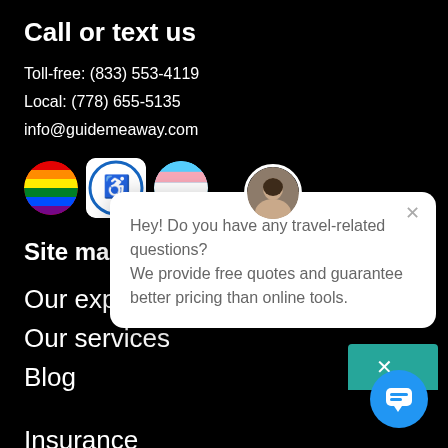Call or text us
Toll-free: (833) 553-4119
Local: (778) 655-5135
info@guidemeaway.com
[Figure (illustration): Three circular badges: rainbow pride flag, accessibility/cruise logo, transgender pride flag]
Site map
Our experts
Our services
Blog
Insurance
FAQ
[Figure (screenshot): Chat popup with avatar photo. Text: Hey! Do you have any travel-related questions? We provide free quotes and guarantee better pricing than online tools. Close button top-right. Chat bubble button bottom-right in blue circle.]